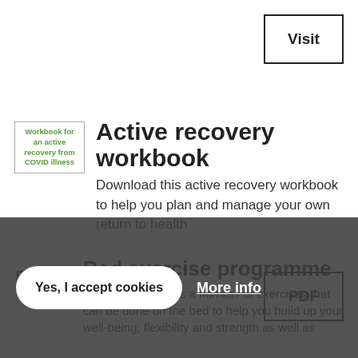Visit
[Figure (illustration): Thumbnail of workbook cover with green text: Workbook for an active recovery from COVID illness]
Active recovery workbook
Download this active recovery workbook to help you plan and manage your own return to health
PDF
[Figure (illustration): Simple line icon of a bed]
Bed exercise programme
This booklet details a number of exercises that can be done on the bed to help you build up your well-being, flexibility and strength as well as
Yes, I accept cookies
More info